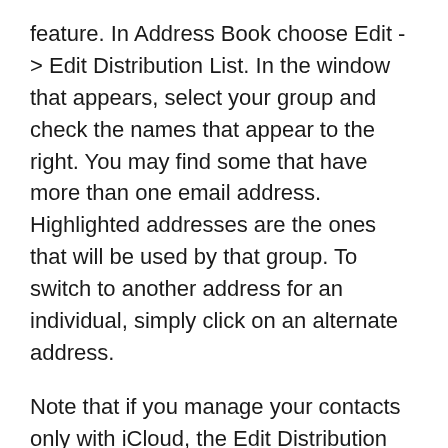feature. In Address Book choose Edit -> Edit Distribution List. In the window that appears, select your group and check the names that appear to the right. You may find some that have more than one email address. Highlighted addresses are the ones that will be used by that group. To switch to another address for an individual, simply click on an alternate address.
Note that if you manage your contacts only with iCloud, the Edit Distribution List option may be grayed out. To make it work, open Address Book -> Preferences and in the General tab choose On My Mac from the Default Account pop-up menu. (You will not see these options if you don't manage your contacts with iCloud.)
An On My Mac entry will appear in the Groups